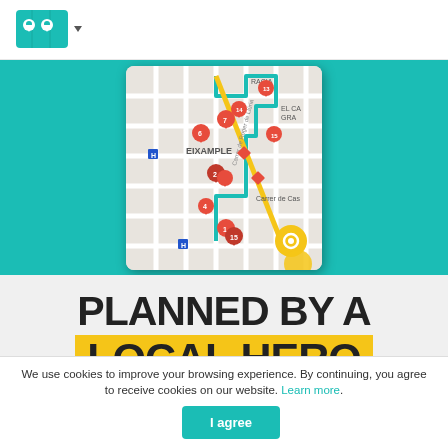[Figure (logo): Maps and routes app logo with two map pin icons on a map background, teal color, with a dropdown arrow]
[Figure (screenshot): Mobile phone screenshot showing a street map of Barcelona Eixample district with multiple red location pins numbered and colored route lines (teal and yellow) connecting them. A gold circular location button appears in the lower right.]
PLANNED BY A LOCAL HERO
We use cookies to improve your browsing experience. By continuing, you agree to receive cookies on our website. Learn more.
I agree